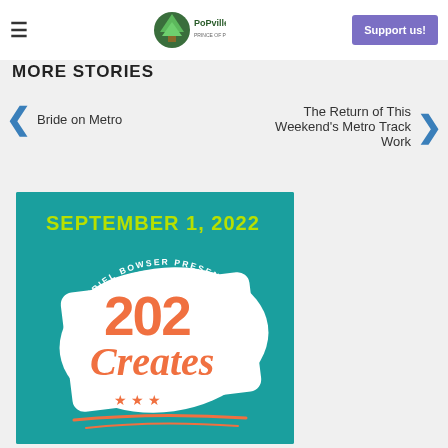≡  PoPville  Support us!
MORE STORIES
Bride on Metro
The Return of This Weekend's Metro Track Work
[Figure (illustration): 202 Creates event poster: teal background with SEPTEMBER 1, 2022 in lime green at top, 'Mayor Muriel Bowser Presents' in white arc text, large orange '202 Creates' logo with white brush stroke background, orange stars and swoosh lines at bottom]